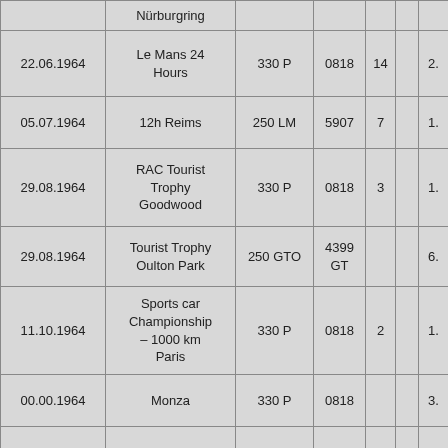| Date | Race | Car | Chassis | No. |  | Result |
| --- | --- | --- | --- | --- | --- | --- |
|  | Nürburgring |  |  |  |  |  |
| 22.06.1964 | Le Mans 24 Hours | 330 P | 0818 | 14 |  | 2. |
| 05.07.1964 | 12h Reims | 250 LM | 5907 | 7 |  | 1. |
| 29.08.1964 | RAC Tourist Trophy Goodwood | 330 P | 0818 | 3 |  | 1. |
| 29.08.1964 | Tourist Trophy Oulton Park | 250 GTO | 4399 GT |  |  | 6. |
| 11.10.1964 | Sports car Championship – 1000 km Paris | 330 P | 0818 | 2 |  | 1. |
| 00.00.1964 | Monza | 330 P | 0818 |  |  | 3. |
|  |  |  |  |  |  |  |